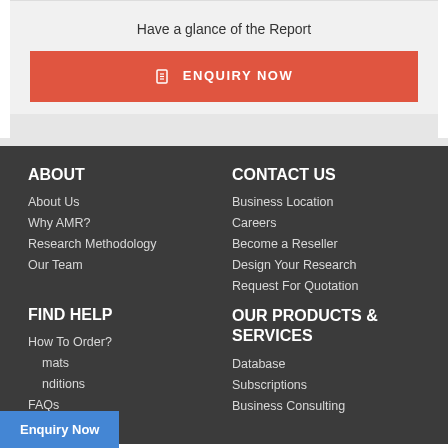Have a glance of the Report
ENQUIRY NOW
ABOUT
About Us
Why AMR?
Research Methodology
Our Team
CONTACT US
Business Location
Careers
Become a Reseller
Design Your Research
Request For Quotation
FIND HELP
How To Order?
...mats
...nditions
FAQs
Return Policy
OUR PRODUCTS & SERVICES
Database
Subscriptions
Business Consulting